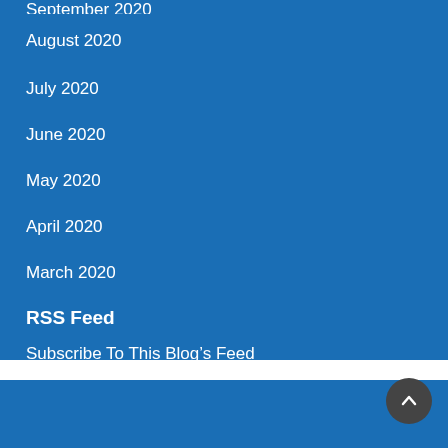September 2020
August 2020
July 2020
June 2020
May 2020
April 2020
March 2020
RSS Feed
Subscribe To This Blog’s Feed